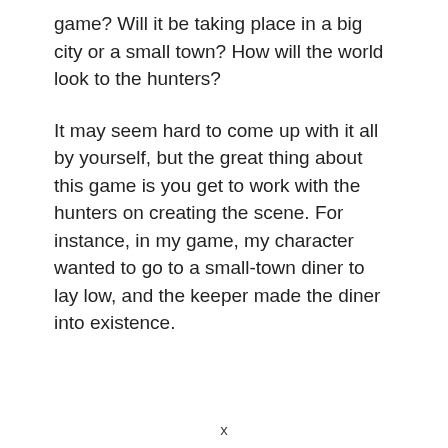game? Will it be taking place in a big city or a small town? How will the world look to the hunters?
It may seem hard to come up with it all by yourself, but the great thing about this game is you get to work with the hunters on creating the scene. For instance, in my game, my character wanted to go to a small-town diner to lay low, and the keeper made the diner into existence.
x